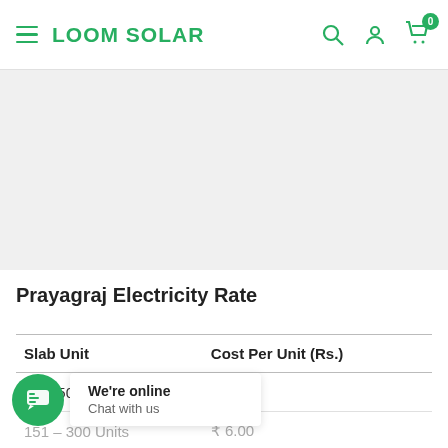LOOM SOLAR
Prayagraj Electricity Rate
| Slab Unit | Cost Per Unit (Rs.) |
| --- | --- |
| 0 – 150 Units | ₹ 5.50 |
| 151 – 300 Units | ₹ 6.00 |